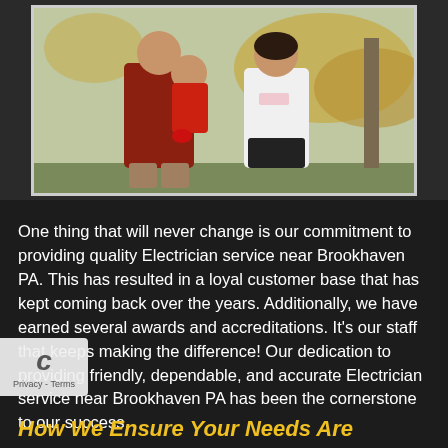[Figure (photo): Family photo showing a man holding a child in a red outfit, and a woman in a white long-sleeve shirt and black pants, standing outdoors with autumn leaves in the background]
One thing that will never change is our commitment to providing quality Electrician service near Brookhaven PA. This has resulted in a loyal customer base that has kept coming back over the years. Additionally, we have earned several awards and accreditations. It’s our staff that keeps making the difference! Our dedication to providing friendly, dependable, and accurate Electrician service near Brookhaven PA has been the cornerstone to our success.
How We Ensure Your Needs Are